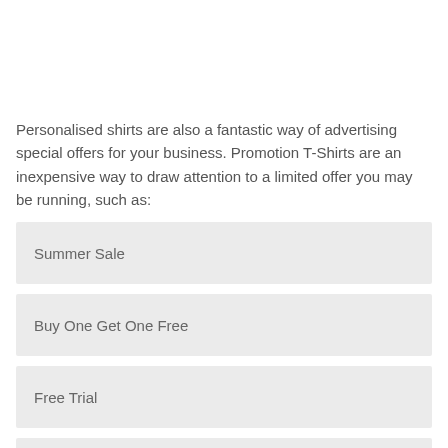Personalised shirts are also a fantastic way of advertising special offers for your business.  Promotion T-Shirts are an inexpensive way to draw attention to a limited offer you may be running, such as:
Summer Sale
Buy One Get One Free
Free Trial
Free gift with every purchase
20% off today only